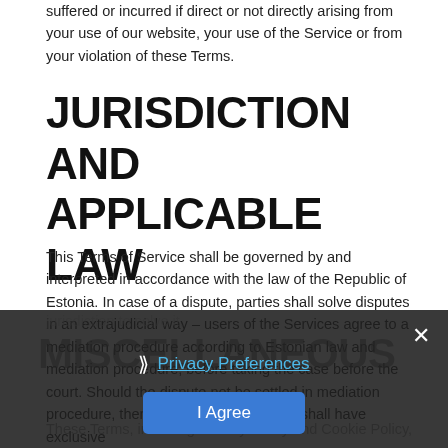suffered or incurred if direct or not directly arising from your use of our website, your use of the Service or from your violation of these Terms.
JURISDICTION AND APPLICABLE LAW
This Terms of Service shall be governed by and interpreted in accordance with the law of the Republic of Estonia. In case of a dispute, parties shall solve disputes in an extrajudicial way – users of the Services agree to a mediation procedure according to Estonian law and mediation procedure, before taking the case before the court. Should the dispute not be settled in mediation procedure, then the Harju County court shall have exclusive jurisdiction to solve it.
MISCELLANEOUS
These Terms, including Privacy Policy and Cookie Policy, govern...